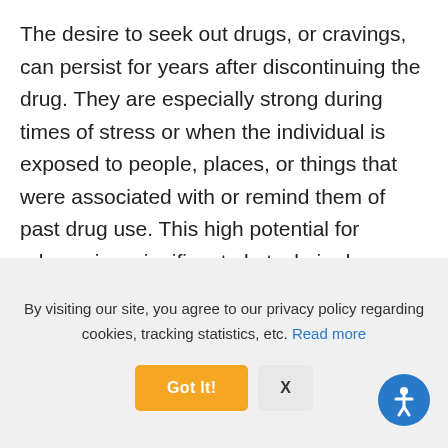The desire to seek out drugs, or cravings, can persist for years after discontinuing the drug. They are especially strong during times of stress or when the individual is exposed to people, places, or things that were associated with or remind them of past drug use. This high potential for relapse is a significant obstacle in drug recovery programs. Stress and environmental cues are processed by neurons in the prefrontal cortex in the brain. This region does not use dopamine as a neurotransmitter, but instead uses
By visiting our site, you agree to our privacy policy regarding cookies, tracking statistics, etc. Read more